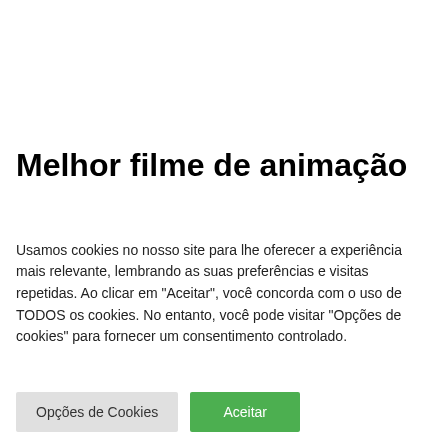Melhor filme de animação
"Onward" (Pixar)
Usamos cookies no nosso site para lhe oferecer a experiência mais relevante, lembrando as suas preferências e visitas repetidas. Ao clicar em "Aceitar", você concorda com o uso de TODOS os cookies. No entanto, você pode visitar "Opções de cookies" para fornecer um consentimento controlado.
Opções de Cookies | Aceitar